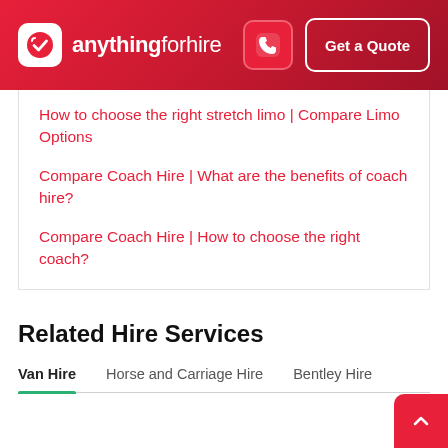anythingforhire — Get a Quote
How to choose the right stretch limo | Compare Limo Options
Compare Coach Hire | What are the benefits of coach hire?
Compare Coach Hire | How to choose the right coach?
Related Hire Services
Van Hire   Horse and Carriage Hire   Bentley Hire